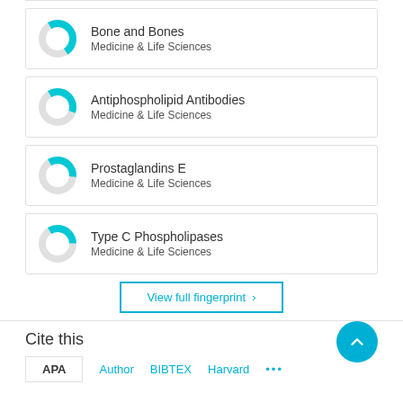Bone and Bones — Medicine & Life Sciences
Antiphospholipid Antibodies — Medicine & Life Sciences
Prostaglandins E — Medicine & Life Sciences
Type C Phospholipases — Medicine & Life Sciences
View full fingerprint >
Cite this
APA   Author   BIBTEX   Harvard   ...